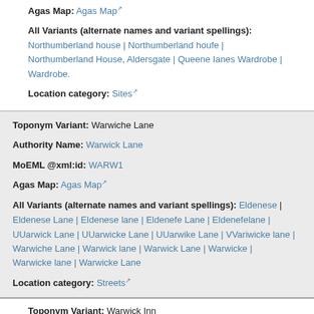Agas Map: Agas Map
All Variants (alternate names and variant spellings): Northumberland house | Northumberland houfe | Northumberland House, Aldersgate | Queene Ianes Wardrobe | Wardrobe.
Location category: Sites
Toponym Variant: Warwiche Lane
Authority Name: Warwick Lane
MoEML @xml:id: WARW1
Agas Map: Agas Map
All Variants (alternate names and variant spellings): Eldenese | Eldenese Lane | Eldenese lane | Eldenefe Lane | Eldenefelane | UUarwick Lane | UUarwicke Lane | UUarwike Lane | VVariwicke lane | Warwiche Lane | Warwick lane | Warwick Lane | Warwicke | Warwicke lane | Warwicke Lane
Location category: Streets
Toponym Variant: Warwick Inn
Authority Name: Warwick's Inn
MoEML @xml:id: WARW2